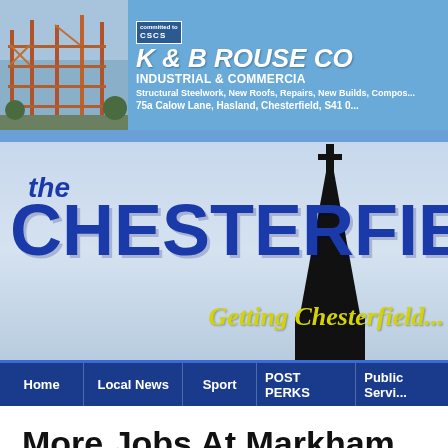[Figure (screenshot): K & B Rouse Co advertisement banner with construction photo, CSCS logo, company name, Industrial & Commercial subtitle, services list, and address at 75a Calow Lane, Hasland, Chesterfield, S41 0...]
[Figure (screenshot): The Chesterfield Post newspaper logo with church spire silhouette and tagline 'Getting Chesterfield...' in yellow italic cursive on blue gradient background]
[Figure (screenshot): Navigation bar with menu items: Home, Local News, Sport, POST PERKS, Public Services]
More Jobs At Markham As Meter Provida Announces